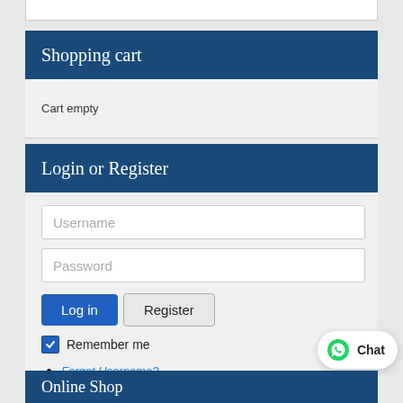[Figure (screenshot): Partial white content box cropped at top of page]
Shopping cart
Cart empty
Login or Register
[Figure (screenshot): Login form with Username field, Password field, Log in button, Register button, Remember me checkbox, Forgot Username and Forgot Password links, and a WhatsApp Chat bubble]
Online Shop